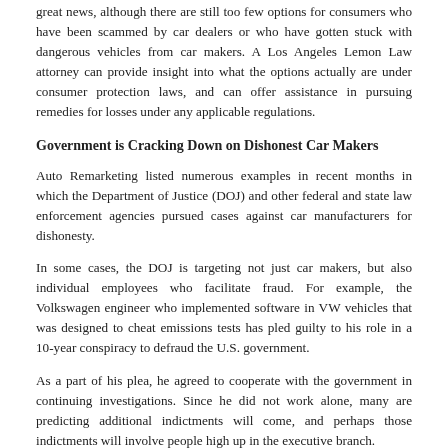great news, although there are still too few options for consumers who have been scammed by car dealers or who have gotten stuck with dangerous vehicles from car makers. A Los Angeles Lemon Law attorney can provide insight into what the options actually are under consumer protection laws, and can offer assistance in pursuing remedies for losses under any applicable regulations.
Government is Cracking Down on Dishonest Car Makers
Auto Remarketing listed numerous examples in recent months in which the Department of Justice (DOJ) and other federal and state law enforcement agencies pursued cases against car manufacturers for dishonesty.
In some cases, the DOJ is targeting not just car makers, but also individual employees who facilitate fraud. For example, the Volkswagen engineer who implemented software in VW vehicles that was designed to cheat emissions tests has pled guilty to his role in a 10-year conspiracy to defraud the U.S. government.
As a part of his plea, he agreed to cooperate with the government in continuing investigations. Since he did not work alone, many are predicting additional indictments will come, and perhaps those indictments will involve people high up in the executive branch.